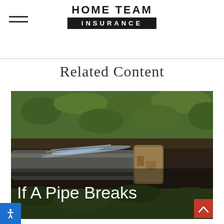HOME TEAM INSURANCE
Related Content
[Figure (photo): A broken outdoor water pipe spraying water, surrounded by grass and soil. Text overlay reads 'If A Pipe Breaks'.]